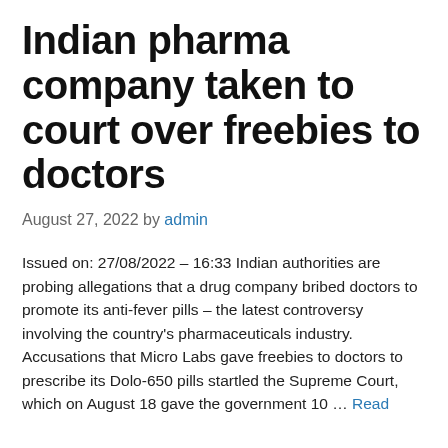Indian pharma company taken to court over freebies to doctors
August 27, 2022 by admin
Issued on: 27/08/2022 – 16:33 Indian authorities are probing allegations that a drug company bribed doctors to promote its anti-fever pills – the latest controversy involving the country's pharmaceuticals industry. Accusations that Micro Labs gave freebies to doctors to prescribe its Dolo-650 pills startled the Supreme Court, which on August 18 gave the government 10 … Read